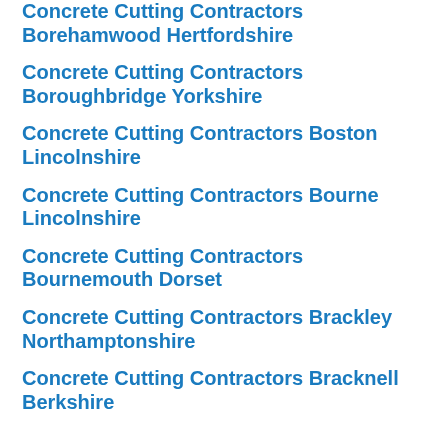Concrete Cutting Contractors Borehamwood Hertfordshire
Concrete Cutting Contractors Boroughbridge Yorkshire
Concrete Cutting Contractors Boston Lincolnshire
Concrete Cutting Contractors Bourne Lincolnshire
Concrete Cutting Contractors Bournemouth Dorset
Concrete Cutting Contractors Brackley Northamptonshire
Concrete Cutting Contractors Bracknell Berkshire